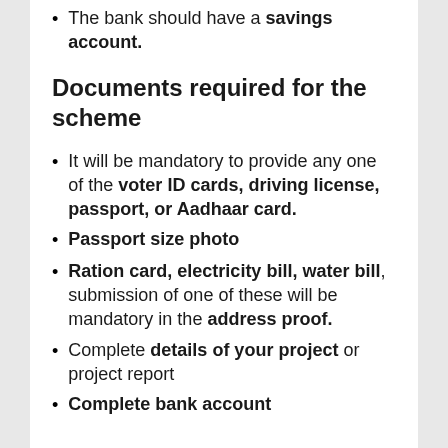The bank should have a savings account.
Documents required for the scheme
It will be mandatory to provide any one of the voter ID cards, driving license, passport, or Aadhaar card.
Passport size photo
Ration card, electricity bill, water bill, submission of one of these will be mandatory in the address proof.
Complete details of your project or project report
Complete bank account information